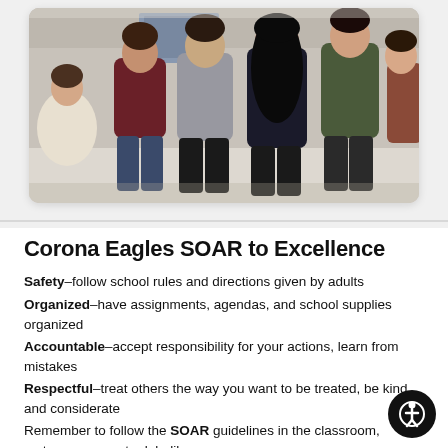[Figure (photo): Students standing in a hallway or classroom, viewed from behind, in a group setting.]
Corona Eagles SOAR to Excellence
Safety—follow school rules and directions given by adults
Organized—have assignments, agendas, and school supplies organized
Accountable—accept responsibility for your actions, learn from mistakes
Respectful—treat others the way you want to be treated, be kind and considerate
Remember to follow the SOAR guidelines in the classroom, restroom, computer lab, library,